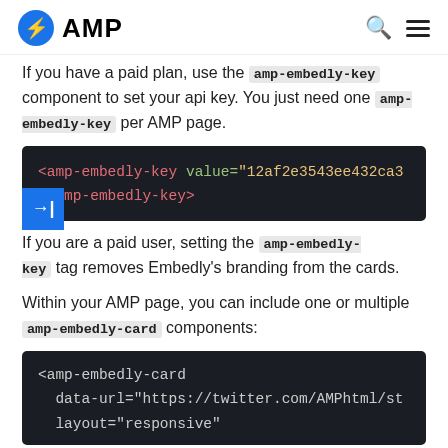AMP
If you have a paid plan, use the amp-embedly-key component to set your api key. You just need one amp-embedly-key per AMP page.
[Figure (screenshot): Code block showing: <amp-embedly-key value="12af2e3543ee432ca3… </amp-embedly-key>]
If you are a paid user, setting the amp-embedly-key tag removes Embedly's branding from the cards.
Within your AMP page, you can include one or multiple amp-embedly-card components:
[Figure (screenshot): Code block showing: <amp-embedly-card  data-url="https://twitter.com/AMPhtml/st  layout="responsive"]